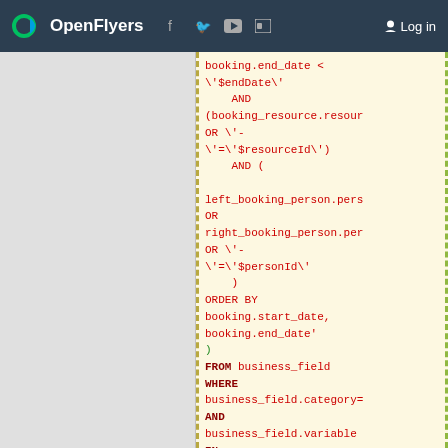OpenFlyers | Log in
booking.end_date < \'$endDate\' AND (booking_resource.resour OR \'-\'=\'$resourceId\') AND ( left_booking_person.pers OR right_booking_person.per OR \'-\'=\'$personId\' ) ORDER BY booking.start_date, booking.end_date' ) FROM business_field WHERE business_field.category= AND business_field.variable IN ('bookingEstimatedFlight 'bookingComment')